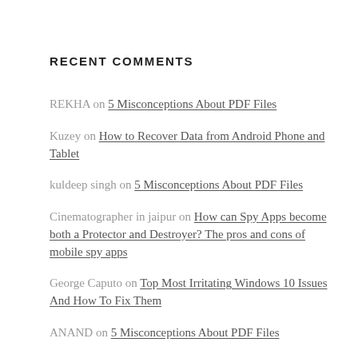RECENT COMMENTS
REKHA on 5 Misconceptions About PDF Files
Kuzey on How to Recover Data from Android Phone and Tablet
kuldeep singh on 5 Misconceptions About PDF Files
Cinematographer in jaipur on How can Spy Apps become both a Protector and Destroyer? The pros and cons of mobile spy apps
George Caputo on Top Most Irritating Windows 10 Issues And How To Fix Them
ANAND on 5 Misconceptions About PDF Files
Steve on How to Transfer WhatsApp Messages from iPhone to Android